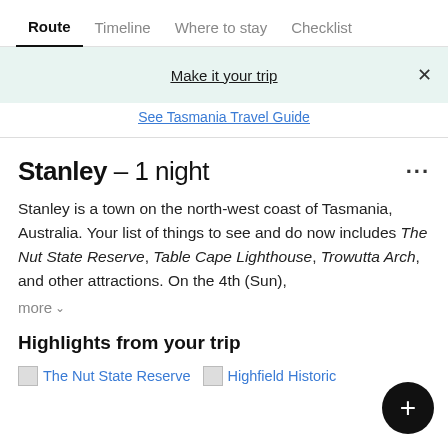Route   Timeline   Where to stay   Checklist
Make it your trip  ×
See Tasmania Travel Guide
Stanley – 1 night
Stanley is a town on the north-west coast of Tasmania, Australia. Your list of things to see and do now includes The Nut State Reserve, Table Cape Lighthouse, Trowutta Arch, and other attractions. On the 4th (Sun),
more ∨
Highlights from your trip
The Nut State Reserve
Highfield Historic